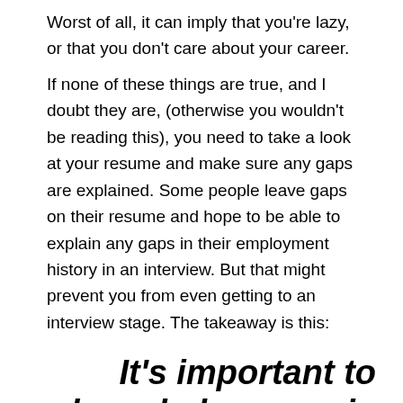Worst of all, it can imply that you’re lazy, or that you don’t care about your career.
If none of these things are true, and I doubt they are, (otherwise you wouldn’t be reading this), you need to take a look at your resume and make sure any gaps are explained. Some people leave gaps on their resume and hope to be able to explain any gaps in their employment history in an interview. But that might prevent you from even getting to an interview stage. The takeaway is this:
It’s important to acknowledge gaps in